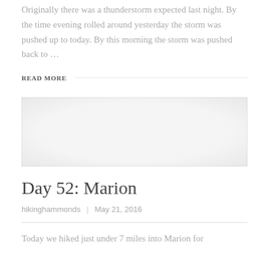Originally there was a thunderstorm expected last night. By the time evening rolled around yesterday the storm was pushed up to today. By this morning the storm was pushed back to …
READ MORE
[Figure (photo): Blog post image placeholder with dotted border and light gradient background]
Day 52: Marion
hikinghammonds | May 21, 2016
Today we hiked just under 7 miles into Marion for